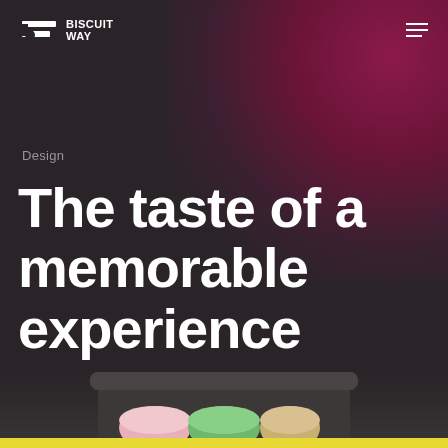BISCUIT WAY
Design
The taste of a memorable experience
[Figure (photo): Partial view of a round biscuit/cookie tin with colorful macarons visible at the bottom of the page, on a dark background with a yellow strip at the very bottom]